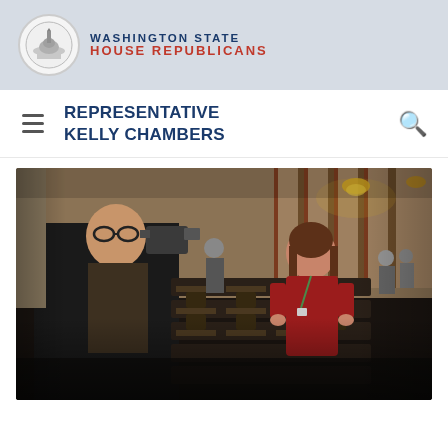WASHINGTON STATE HOUSE REPUBLICANS
REPRESENTATIVE KELLY CHAMBERS
[Figure (photo): Photo of Representative Kelly Chambers in a red dress being interviewed by a reporter with a camera in the Washington State House chamber]